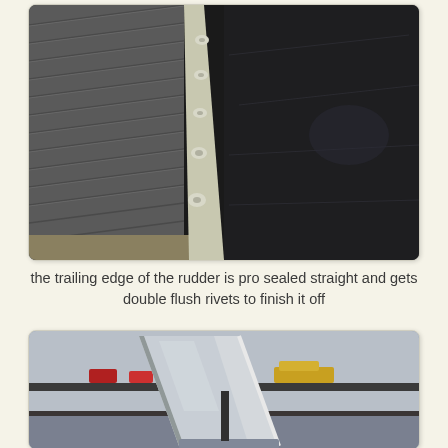[Figure (photo): Close-up photo of the trailing edge of an aircraft rudder showing flush rivets along a seam between metallic ribbed skin and dark smooth skin surface.]
the trailing edge of the rudder is pro sealed straight and gets double flush rivets to finish it off
[Figure (photo): Photo of a completed aluminum rudder assembly standing upright in a workshop/hangar, showing the triangular trailing edge structure and metallic skin panels.]